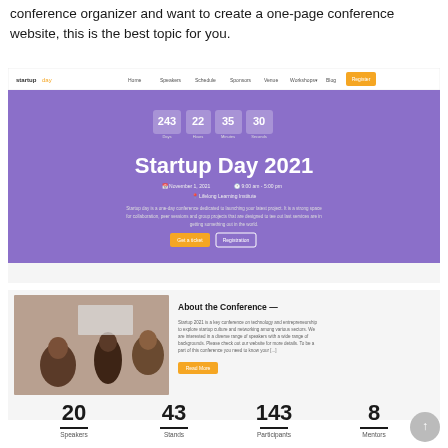conference organizer and want to create a one-page conference website, this is the best topic for you.
[Figure (screenshot): Screenshot of a conference website called 'Startup Day 2021' with a purple hero section showing a countdown timer (243 days, 22 hours, 35 minutes, 30 seconds), navigation bar, event details, two CTA buttons, and a lower section with a photo of conference attendees alongside 'About the Conference' text.]
[Figure (infographic): Statistics row showing: 20 Speakers, 43 Stands, 143 Participants, 8 Mentors]